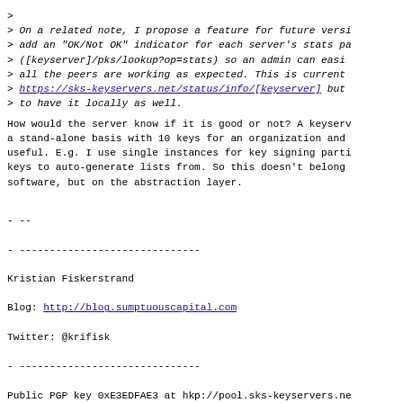>
> On a related note, I propose a feature for future versi
> add an "OK/Not OK" indicator for each server's stats pa
> ([keyserver]/pks/lookup?op=stats) so an admin can easi
> all the peers are working as expected. This is current
> https://sks-keyservers.net/status/info/[keyserver] but
> to have it locally as well.
How would the server know if it is good or not? A keyserv a stand-alone basis with 10 keys for an organization and useful. E.g. I use single instances for key signing parti keys to auto-generate lists from. So this doesn't belong software, but on the abstraction layer.
- --
- ------------------------------
Kristian Fiskerstrand
Blog: http://blog.sumptuouscapital.com
Twitter: @krifisk
- ------------------------------
Public PGP key 0xE3EDFAE3 at hkp://pool.sks-keyservers.ne
fpr:94CB AFDD 3034 5109 5618 35AA 0B7F 8B60 E3ED FAE3
- ------------------------------
Cogito ergo sum
I think, therefore I am
-----BEGIN PGP SIGNATURE-----
iQIcBAEBCgAGBQJT24D9AAoJEPw7F94F4TagnHQQAKXXjGB1xjEPseIGy XLBlDPJpHbOvf1cIvSweklFIxKTiGSD00/bXyw6s/eFp4U97DBUfc9rUc